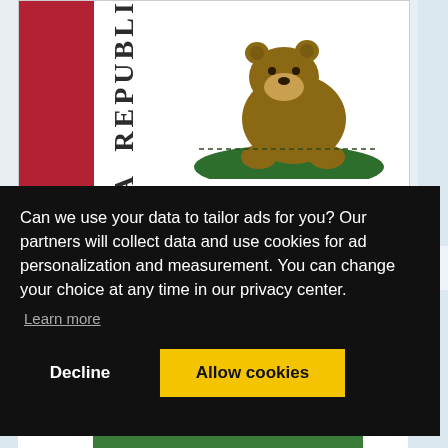[Figure (illustration): Partial California state flag showing the red stripe on the left, 'REPUBLIC' text written vertically, and a grizzly bear on green grass against a white background. Only the upper portion of the flag is visible.]
Can we use your data to tailor ads for you? Our partners will collect data and use cookies for ad personalization and measurement. You can change your choice at any time in our privacy center.
Learn more
Decline
Allow cookies
[Figure (illustration): Bottom portion of the California state flag showing the top of the green grass mound.]